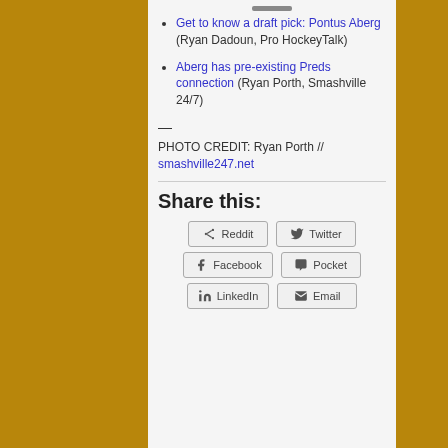Get to know a draft pick: Pontus Aberg (Ryan Dadoun, Pro HockeyTalk)
Aberg has pre-existing Preds connection (Ryan Porth, Smashville 24/7)
—
PHOTO CREDIT: Ryan Porth // smashville247.net
Share this:
Reddit | Twitter | Facebook | Pocket | LinkedIn | Email